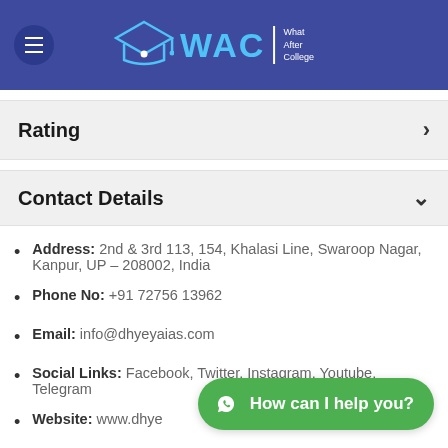[Figure (logo): WAC - What After College logo on dark blue header with hamburger menu button and graduation cap icon]
Rating
Contact Details
Address: 2nd & 3rd 113, 154, Khalasi Line, Swaroop Nagar, Kanpur, UP – 208002, India
Phone No: +91 72756 13962
Email: info@dhyeyaias.com
Social Links: Facebook, Twitter, Instagram, Youtube, Telegram
Website: www.dhye…
[Figure (other): WhatsApp chat button with text 'How can I help you?' in green rounded pill shape]